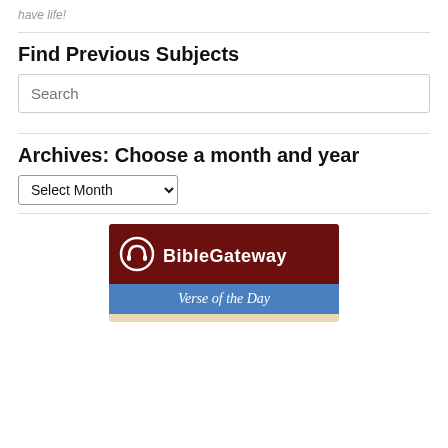have life!
Find Previous Subjects
Search
Archives: Choose a month and year
Select Month
[Figure (logo): BibleGateway Verse of the Day banner/logo with dark red background, headphone icon, BibleGateway text, and blue Verse of the Day banner]